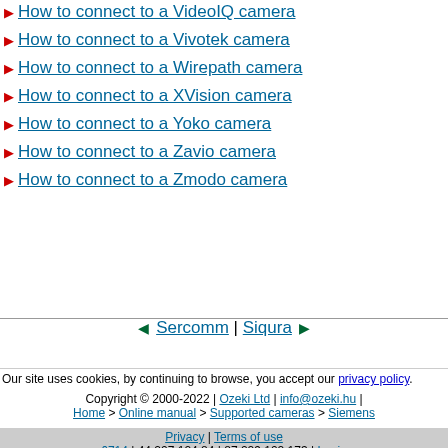How to connect to a VideoIQ camera
How to connect to a Vivotek camera
How to connect to a Wirepath camera
How to connect to a XVision camera
How to connect to a Yoko camera
How to connect to a Zavio camera
How to connect to a Zmodo camera
◄ Sercomm | Siqura ►
Our site uses cookies, by continuing to browse, you accept our privacy policy.
Copyright © 2000-2022 | Ozeki Ltd | info@ozeki.hu | Home > Online manual > Supported cameras > Siemens Privacy | Terms of use 6714 | 44.207.124.84 | 87.229.102.173 | Login